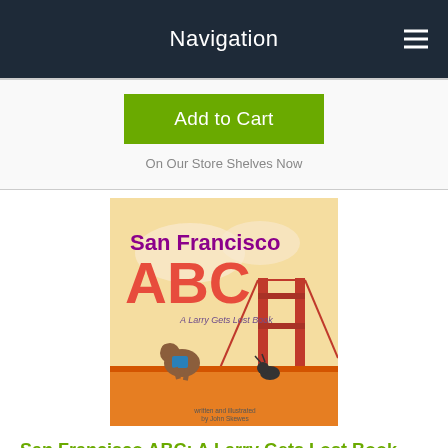Navigation
Add to Cart
On Our Store Shelves Now
[Figure (illustration): Book cover for San Francisco ABC: A Larry Gets Lost Book, showing characters running near the Golden Gate Bridge with bold colorful text]
San Francisco ABC: A Larry Gets Lost Book (Hardcover)
By John Skewes
$14.99